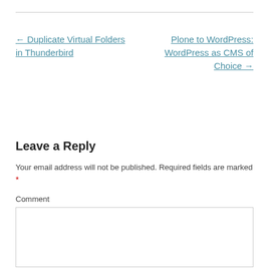← Duplicate Virtual Folders in Thunderbird
Plone to WordPress: WordPress as CMS of Choice →
Leave a Reply
Your email address will not be published. Required fields are marked *
Comment